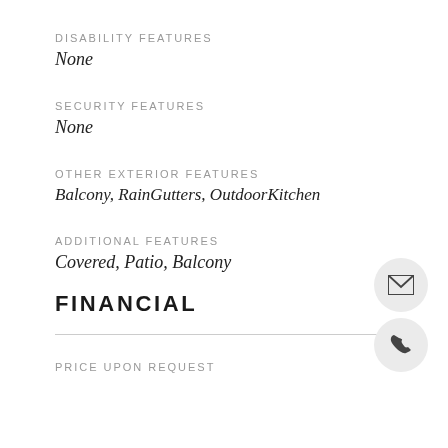DISABILITY FEATURES
None
SECURITY FEATURES
None
OTHER EXTERIOR FEATURES
Balcony, RainGutters, OutdoorKitchen
ADDITIONAL FEATURES
Covered, Patio, Balcony
FINANCIAL
PRICE UPON REQUEST